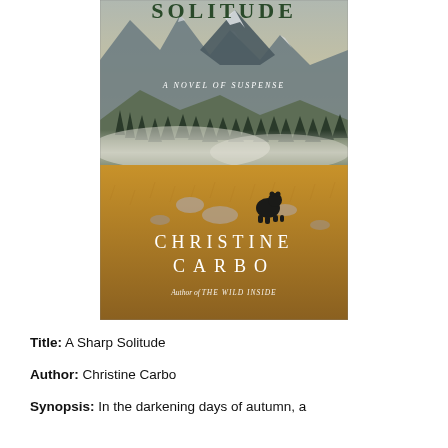[Figure (illustration): Book cover of 'A Sharp Solitude: A Novel of Suspense' by Christine Carbo. The cover shows a misty mountain landscape with golden grasslands, pine trees, rocky mountains in the background, and a black bear standing in the field. The title 'SOLITUDE' appears at the top in dark green serif letters, 'A NOVEL OF SUSPENSE' in white italic text in the middle, the author name 'CHRISTINE CARBO' in large white serif letters, and 'Author of THE WILD INSIDE' at the bottom.]
Title: A Sharp Solitude
Author: Christine Carbo
Synopsis: In the darkening days of autumn, a